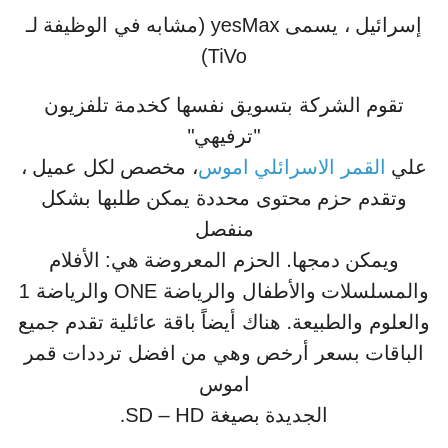إسرائيل ، يسمى yesMax (مشابه في الوظيفة لـ TiVo)
تقوم الشركة بتسويق نفسها كخدمة تلفزيون "ترفيهي" علي القمر الاسرائلي اموس، مخصص لكل عميل ، وتقدم حزم محتوى محددة يمكن طلبها بشكل منفصل ويمكن دمجها. الحزم المعروضة هي: الأفلام والمسلسلات والأطفال والرياضة ONE والرياضة 1 والعلوم والطبيعة. هناك أيضاً باقة عائلية تقدم جميع الباقات بسعر أرخص وهي من افضل ترددات قمر اموس الجديدة بصيغة SD – HD.